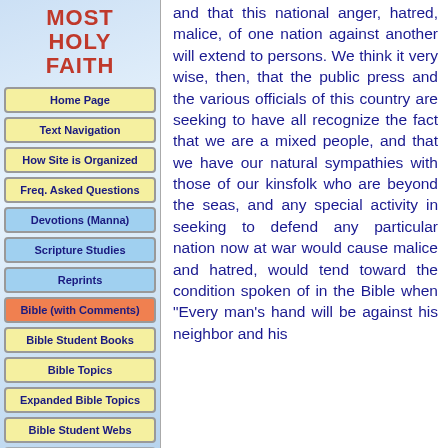MOST HOLY FAITH
Home Page
Text Navigation
How Site is Organized
Freq. Asked Questions
Devotions (Manna)
Scripture Studies
Reprints
Bible (with Comments)
Bible Student Books
Bible Topics
Expanded Bible Topics
Bible Student Webs
Miscellaneous
and that this national anger, hatred, malice, of one nation against another will extend to persons. We think it very wise, then, that the public press and the various officials of this country are seeking to have all recognize the fact that we are a mixed people, and that we have our natural sympathies with those of our kinsfolk who are beyond the seas, and any special activity in seeking to defend any particular nation now at war would cause malice and hatred, would tend toward the condition spoken of in the Bible when "Every man's hand will be against his neighbor and his